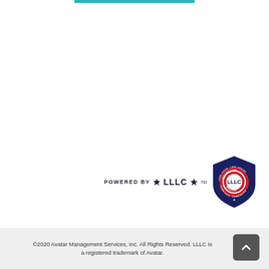[Figure (logo): Teal horizontal bar at top center of page]
[Figure (logo): Powered By LLLC defensive driving shield logo with stars, red white and blue badge, trademark symbol. Text reads POWERED BY * LLLC * with shield badge showing LOOK AHEAD LOOK AROUND DEFENSIVE DRIVING LEARN AVOID COMMUNICATE]
©2020 Avatar Management Services, Inc. All Rights Reserved. LLLC is a registered trademark of Avatar.